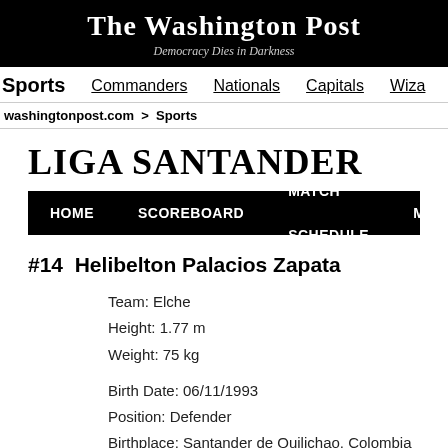The Washington Post
Democracy Dies in Darkness
Sports | Commanders | Nationals | Capitals | Wiza
washingtonpost.com > Sports
LIGA SANTANDER
HOME | SCOREBOARD | MATCH SCHEDULE | MORE...
#14  Helibelton Palacios Zapata
Team: Elche
Height: 1.77 m
Weight: 75 kg
Birth Date: 06/11/1993
Position: Defender
Birthplace: Santander de Quilichao, Colombia